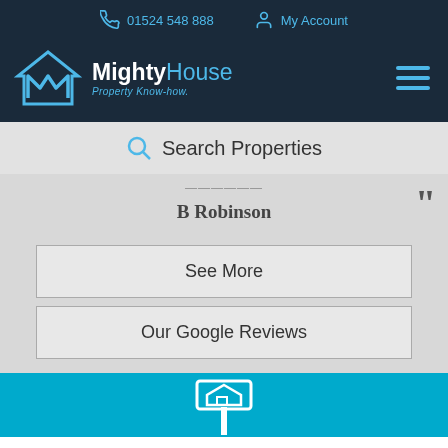01524 548 888  My Account
[Figure (logo): MightyHouse Property Know-how logo with house/M icon in dark navy header]
Search Properties
B Robinson
See More
Our Google Reviews
[Figure (illustration): White house/property icon on cyan background at bottom of page]